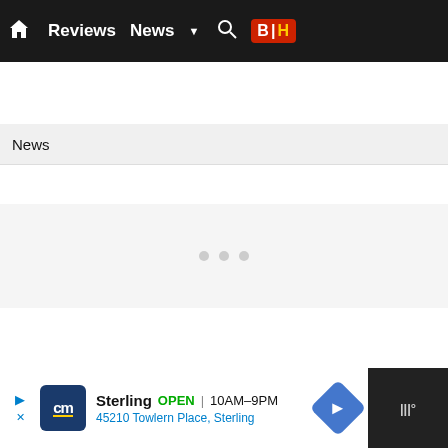Home  Reviews  News  ▼  🔍  B|H
News
[Figure (screenshot): Empty loading content area with three small grey dots in the center indicating loading state]
Sterling  OPEN  10AM–9PM  45210 Towlern Place, Sterling